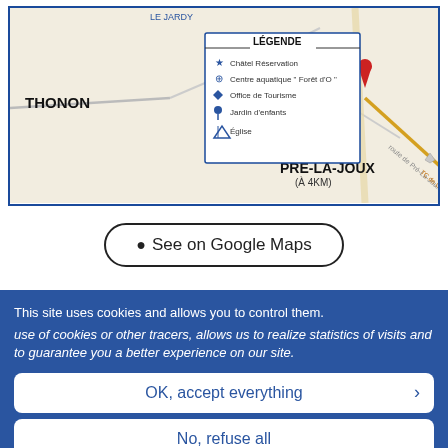[Figure (map): Partial map showing locations of THONON, LE JARDY, VILLAPEYRON, PRÉ-LA-JOUX (À 4KM) with a legend (LÉGENDE) listing: Châtel Réservation, Centre aquatique 'Forêt d'O', Office de Tourisme, Jardin d'enfants, Église. A red location pin is visible near VILLAPEYRON and an orange road labeled TC de Linas leads to PRÉ-LA-JOUX.]
See on Google Maps
This site uses cookies and allows you to control them. use of cookies or other tracers, allows us to realize statistics of visits and to guarantee you a better experience on our site.
OK, accept everything
No, refuse all
Personalize